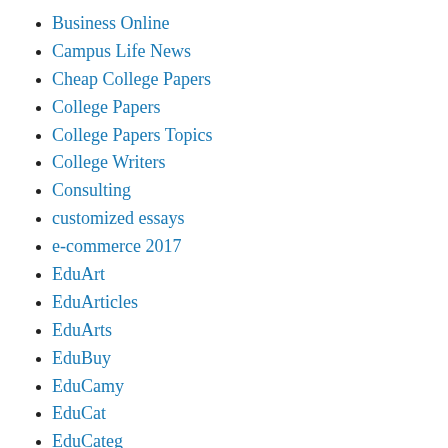Business Online
Campus Life News
Cheap College Papers
College Papers
College Papers Topics
College Writers
Consulting
customized essays
e-commerce 2017
EduArt
EduArticles
EduArts
EduBuy
EduCamy
EduCat
EduCateg